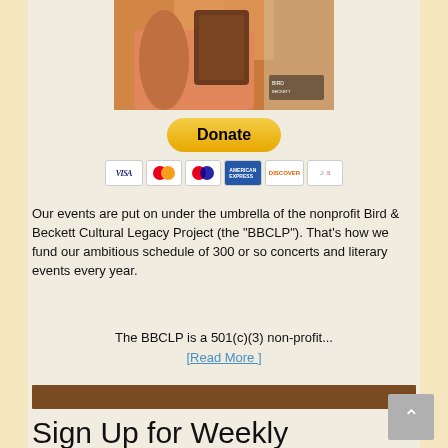[Figure (photo): Partial photo of a person in an orange shirt, appears to be a musician, cropped at top]
[Figure (other): PayPal Donate button with payment card icons (Visa, Mastercard, Maestro, American Express, Discover, JCB)]
Our events are put on under the umbrella of the nonprofit Bird & Beckett Cultural Legacy Project (the "BBCLP"). That's how we fund our ambitious schedule of 300 or so concerts and literary events every year.
The BBCLP is a 501(c)(3) non-profit...
[Read More ]
[Figure (other): Brown decorative horizontal bar]
Sign Up for Weekly